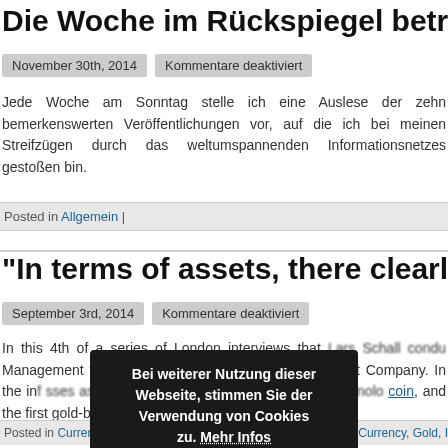Die Woche im Rückspiegel betrachtete
November 30th, 2014   Kommentare deaktiviert
Jede Woche am Sonntag stelle ich eine Auslese der zehn bemerkenswerten Veröffentlichungen vor, auf die ich bei meinen Streifzügen durch das weltumspannenden Informationsnetzes gestoßen bin.
Posted in Allgemein |
"In terms of assets, there clearly is i
September 3rd, 2014   Kommentare deaktiviert
In this 4th of a series of London interviews that Lars Schall condu Management this summer Skovles, the recently a Asset Company. In the inf sses asset price infla heavy gold buying, the technolo coin, and the first gold-back
Bei weiterer Nutzung dieser Webseite, stimmen Sie der Verwendung von Cookies zu. Mehr Infos   Akzeptieren
Posted in Currency, Precious Metals | Tags: Bitcoin, China, Crypto Currency, Gold, Inflation